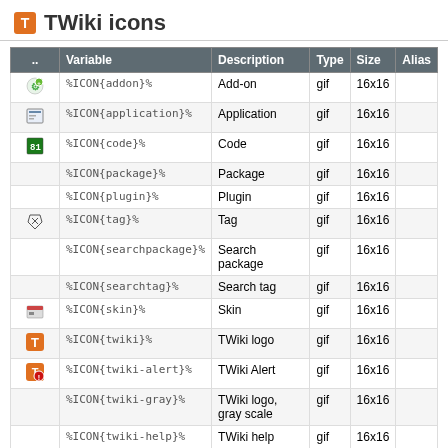TWiki icons
| .. | Variable | Description | Type | Size | Alias |
| --- | --- | --- | --- | --- | --- |
| [addon icon] | %ICON{addon}% | Add-on | gif | 16x16 |  |
| [application icon] | %ICON{application}% | Application | gif | 16x16 |  |
| [code icon] | %ICON{code}% | Code | gif | 16x16 |  |
|  | %ICON{package}% | Package | gif | 16x16 |  |
|  | %ICON{plugin}% | Plugin | gif | 16x16 |  |
| [tag icon] | %ICON{tag}% | Tag | gif | 16x16 |  |
|  | %ICON{searchpackage}% | Search package | gif | 16x16 |  |
|  | %ICON{searchtag}% | Search tag | gif | 16x16 |  |
| [skin icon] | %ICON{skin}% | Skin | gif | 16x16 |  |
| [twiki icon] | %ICON{twiki}% | TWiki logo | gif | 16x16 |  |
| [twiki-alert icon] | %ICON{twiki-alert}% | TWiki Alert | gif | 16x16 |  |
|  | %ICON{twiki-gray}% | TWiki logo, gray scale | gif | 16x16 |  |
|  | %ICON{twiki-help}% | TWiki help | gif | 16x16 |  |